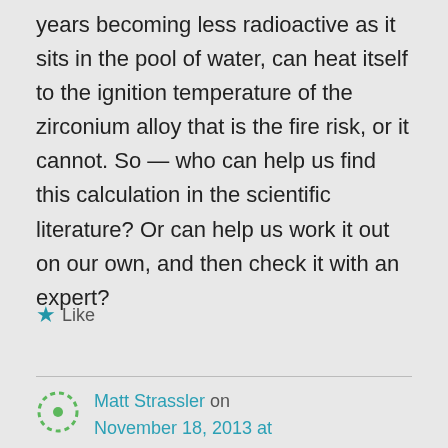years becoming less radioactive as it sits in the pool of water, can heat itself to the ignition temperature of the zirconium alloy that is the fire risk, or it cannot. So — who can help us find this calculation in the scientific literature? Or can help us work it out on our own, and then check it with an expert?
Like
Matt Strassler on November 18, 2013 at